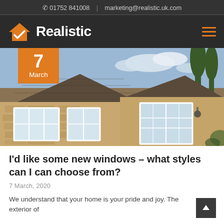01752 841008  |  marketing@realistic.uk.com
[Figure (logo): Realistic company logo: orange house with checkmark icon and bold white 'Realistic' text on dark background, with hamburger menu icon on the right]
[Figure (photo): Stone cottage house exterior with white framed windows and patio doors, tiled roof, blue sky background. Orange date badge showing '7 March' overlaid in top-left.]
I'd like some new windows – what styles can I can choose from?
7 March, 2020
We understand that your home is your pride and joy. The exterior of